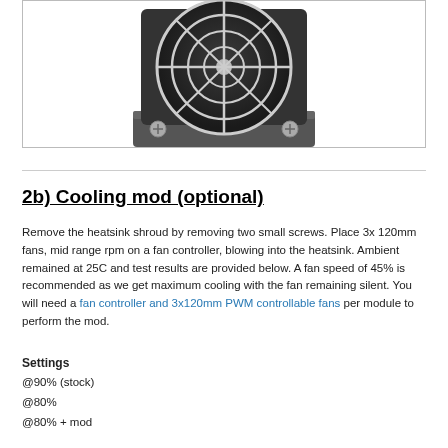[Figure (photo): A cooling fan with wire guard/grille, mounted on a dark gray heatsink shroud with two visible screws at bottom corners, viewed from front]
2b) Cooling mod (optional)
Remove the heatsink shroud by removing two small screws. Place 3x 120mm fans, mid range rpm on a fan controller, blowing into the heatsink. Ambient remained at 25C and test results are provided below. A fan speed of 45% is recommended as we get maximum cooling with the fan remaining silent. You will need a fan controller and 3x120mm PWM controllable fans per module to perform the mod.
Settings
@90% (stock)
@80%
@80% + mod